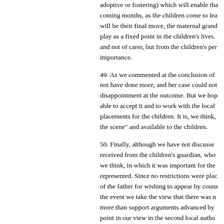adoptive or fostering) which will enable tha coming months, as the children come to lea will be their final move, the maternal grand play as a fixed point in the children's lives. and not of carer, but from the children's pe importance.
49. As we commented at the conclusion of not have done more, and her case could not disappointment at the outcome. But we hop able to accept it and to work with the local placements for the children. It is, we think, the scene" and available to the children.
50. Finally, although we have not discusse received from the children's guardian, who we think, in which it was important for the represented. Since no restrictions were pla of the father for wishing to appear by coun the event we take the view that there was n more than support arguments advanced by point in our view in the second local autho conveying no more than a "neutral" attitud that the mother was plainly right not to app
Keywords:    care proceedings    children